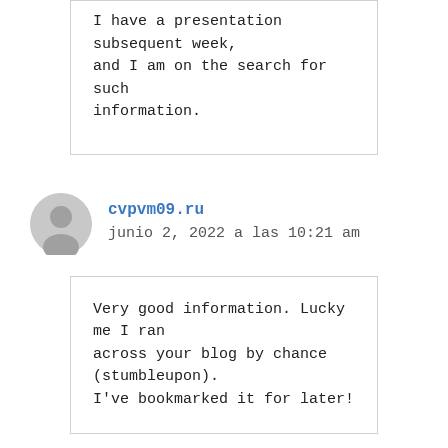I have a presentation subsequent week, and I am on the search for such information.
cvpvm09.ru
junio 2, 2022 a las 10:21 am
Very good information. Lucky me I ran across your blog by chance (stumbleupon). I've bookmarked it for later!